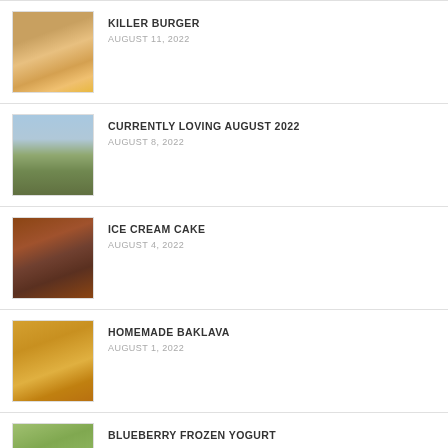KILLER BURGER
AUGUST 11, 2022
[Figure (photo): Photo of a burger with fries]
CURRENTLY LOVING AUGUST 2022
AUGUST 8, 2022
[Figure (photo): Photo of two people outdoors in a field]
ICE CREAM CAKE
AUGUST 4, 2022
[Figure (photo): Photo of chocolate ice cream cake in a pan]
HOMEMADE BAKLAVA
AUGUST 1, 2022
[Figure (photo): Photo of homemade baklava in a tray]
BLUEBERRY FROZEN YOGURT
JULY 29, 2022
[Figure (photo): Photo of a child outdoors among blueberry plants]